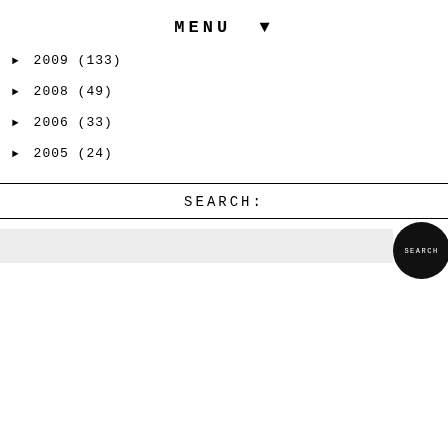MENU ▼
► 2009 (133)
► 2008 (49)
► 2006 (33)
► 2005 (24)
SEARCH:
[Figure (other): Search input field with a circular black SEARCH button on the right]